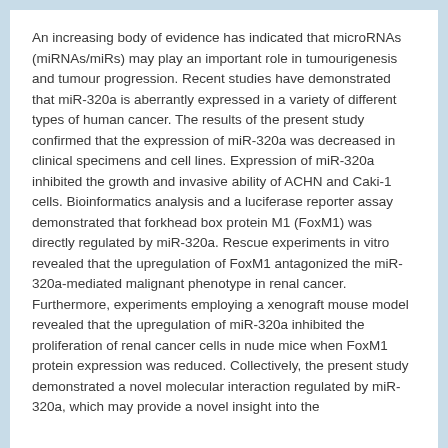An increasing body of evidence has indicated that microRNAs (miRNAs/miRs) may play an important role in tumourigenesis and tumour progression. Recent studies have demonstrated that miR-320a is aberrantly expressed in a variety of different types of human cancer. The results of the present study confirmed that the expression of miR-320a was decreased in clinical specimens and cell lines. Expression of miR-320a inhibited the growth and invasive ability of ACHN and Caki-1 cells. Bioinformatics analysis and a luciferase reporter assay demonstrated that forkhead box protein M1 (FoxM1) was directly regulated by miR-320a. Rescue experiments in vitro revealed that the upregulation of FoxM1 antagonized the miR-320a-mediated malignant phenotype in renal cancer. Furthermore, experiments employing a xenograft mouse model revealed that the upregulation of miR-320a inhibited the proliferation of renal cancer cells in nude mice when FoxM1 protein expression was reduced. Collectively, the present study demonstrated a novel molecular interaction regulated by miR-320a, which may provide a novel insight into the treatment of renal cancer.